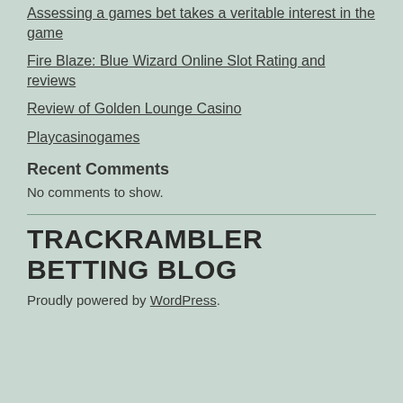Assessing a games bet takes a veritable interest in the game
Fire Blaze: Blue Wizard Online Slot Rating and reviews
Review of Golden Lounge Casino
Playcasinogames
Recent Comments
No comments to show.
TRACKRAMBLER BETTING BLOG
Proudly powered by WordPress.